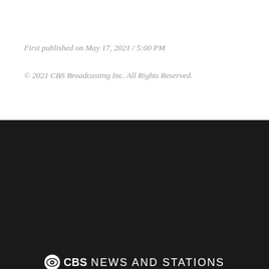First published on May 17, 2021 / 5:00 PM
© 2021 CBS Broadcasting Inc. All Rights Reserved.
[Figure (logo): CBS News and Stations logo with CBS eye symbol]
©2022 CBS Broadcasting Inc. All Rights Reserved.
WBZ-TV
News
Sports
Weather
Contests
Program Guide
Terms of Use
Privacy Policy
Do Not Sell My Personal Information
Cookies Policy
Public File for WBZ-TV